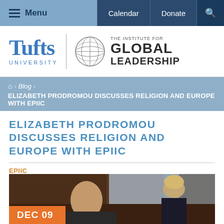Menu | Calendar | Donate
[Figure (logo): Tufts University | The Institute for Global Leadership logo]
Home > Blog > ELIZABETH PRODROMOU DISCUSSES RELIGION AND EUROPE WITH EPIIC
ELIZABETH PRODROMOU DISCUSSES RELIGION AND EUROPE WITH EPIIC
EPIIC
by tuftsigl
[Figure (photo): A woman speaking at a panel, with another person visible in the background. Date badge shows DEC 09.]